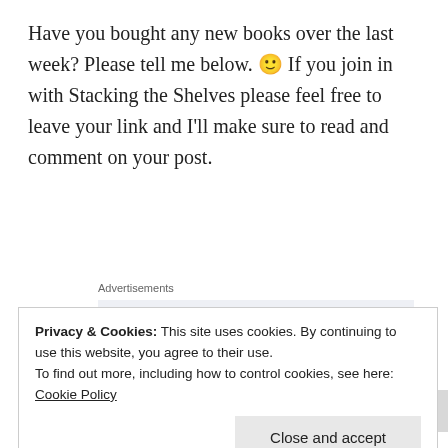Have you bought any new books over the last week? Please tell me below. 🙂 If you join in with Stacking the Shelves please feel free to leave your link and I'll make sure to read and comment on your post.
Advertisements
[Figure (other): Advertisement box with light blue-gray background showing the text 'Build a writing']
Privacy & Cookies: This site uses cookies. By continuing to use this website, you agree to their use.
To find out more, including how to control cookies, see here:
Cookie Policy
Close and accept